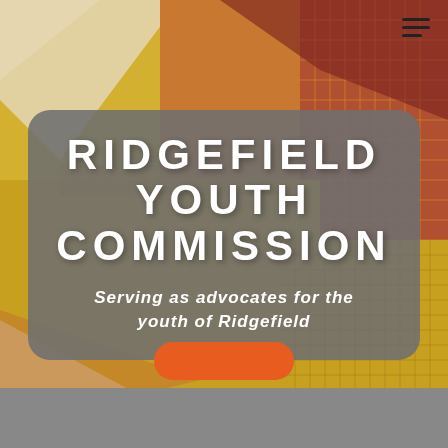[Figure (illustration): Abstract colorful mural/mosaic background with warm tones of yellow, orange, red-brown, and white geometric shapes covering the upper ~87% of the page.]
RIDGEFIELD YOUTH COMMISSION
Serving as advocates for the youth of Ridgefield